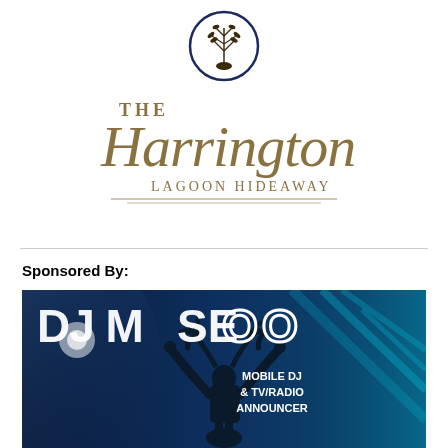[Figure (logo): The Harrington Lagoon Hideaway logo with decorative script text and circular emblem with plant motif]
Sponsored By:
[Figure (illustration): DJ Moose advertisement banner with dark blue background, silhouette of DJ with raised arms and moose antlers, text reads 'DJ MOOSE - MOBILE DJ & TV/RADIO ANNOUNCER']